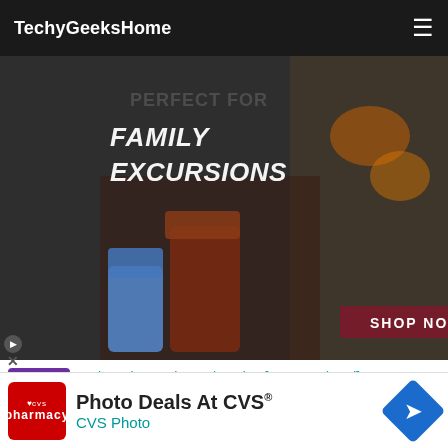TechyGeeksHome
[Figure (photo): Advertisement banner showing family excursions with boots/shoes and a 'SHOP NOW' button on a dark background]
[Figure (photo): Roku logo thumbnail - purple square with ROKU text in white]
Roku Private Channel Codes [2022 Updated]
No compatible source was found for this media.
[Figure (advertisement): CVS Pharmacy ad banner at bottom: 'Photo Deals At CVS® CVS Photo' with CVS logo and navigation arrow icon]